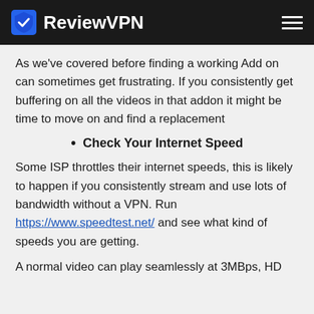ReviewVPN
As we've covered before finding a working Add on can sometimes get frustrating. If you consistently get buffering on all the videos in that addon it might be time to move on and find a replacement
Check Your Internet Speed
Some ISP throttles their internet speeds, this is likely to happen if you consistently stream and use lots of bandwidth without a VPN. Run https://www.speedtest.net/ and see what kind of speeds you are getting.
A normal video can play seamlessly at 3MBps, HD